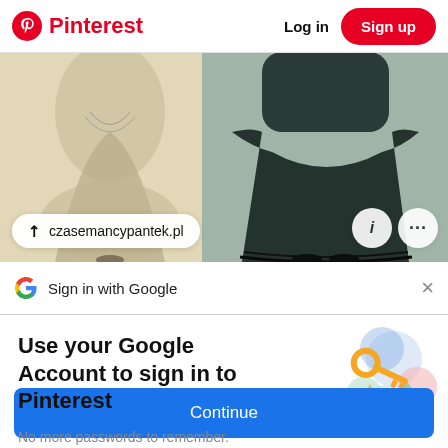Pinterest   Log in   Sign up
[Figure (photo): Fashion illustration showing two figures in Victorian-era dresses, one in beige/cream and one in dark teal/black. An overlay URL bar shows 'czasemancypantek.pl' with an arrow icon, and two circular icon buttons (info and more/ellipsis).]
Sign in with Google
Use your Google Account to sign in to Pinterest
No more passwords to remember.
Signing in is fast, simple and secure.
[Figure (illustration): Google key illustration with colorful circular shapes and a gold key icon]
Continue